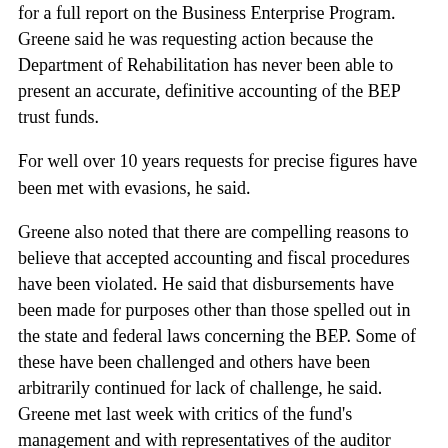for a full report on the Business Enterprise Program. Greene said he was requesting action because the Department of Rehabilitation has never been able to present an accurate, definitive accounting of the BEP trust funds.
For well over 10 years requests for precise figures have been met with evasions, he said.
Greene also noted that there are compelling reasons to believe that accepted accounting and fiscal procedures have been violated. He said that disbursements have been made for purposes other than those spelled out in the state and federal laws concerning the BEP. Some of these have been challenged and others have been arbitrarily continued for lack of challenge, he said. Greene met last week with critics of the fund's management and with representatives of the auditor general's office to plan the investigation.
Greene urged that particular note be taken by the auditors of using trust funds for administrative purposes and consultants' fees. Calling the program a morass of mismanagement, he said that the department had used single source vendors when competitive bids could have